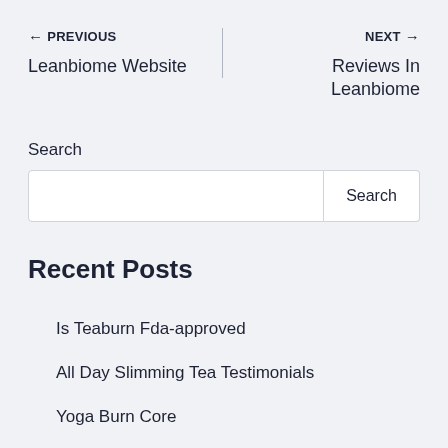← PREVIOUS
Leanbiome Website
NEXT →
Reviews In Leanbiome
Search
Recent Posts
Is Teaburn Fda-approved
All Day Slimming Tea Testimonials
Yoga Burn Core